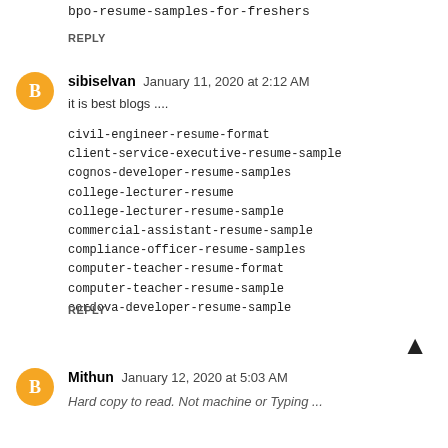bpo-resume-samples-for-freshers
REPLY
sibiselvan January 11, 2020 at 2:12 AM
it is best blogs ....
civil-engineer-resume-format
client-service-executive-resume-sample
cognos-developer-resume-samples
college-lecturer-resume
college-lecturer-resume-sample
commercial-assistant-resume-sample
compliance-officer-resume-samples
computer-teacher-resume-format
computer-teacher-resume-sample
cordova-developer-resume-sample
REPLY
Mithun January 12, 2020 at 5:03 AM